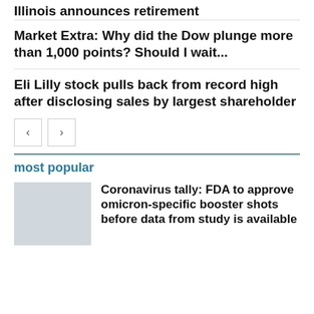Illinois announces retirement
Market Extra: Why did the Dow plunge more than 1,000 points? Should I wait...
Eli Lilly stock pulls back from record high after disclosing sales by largest shareholder
most popular
Coronavirus tally: FDA to approve omicron-specific booster shots before data from study is available